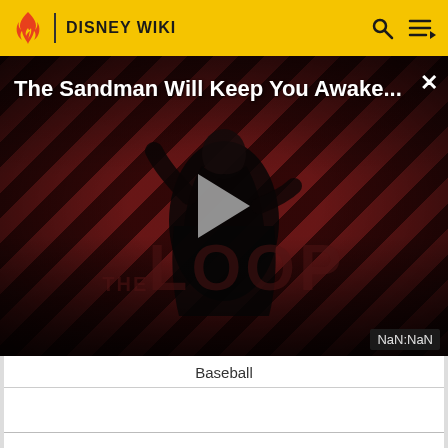DISNEY WIKI
[Figure (screenshot): Video player thumbnail for 'The Sandman Will Keep You Awake...' featuring a dark-cloaked figure against a diagonal red-striped background with 'THE LOOP' text overlay and a play button. Timer shows NaN:NaN.]
Baseball
CHARACTER INFORMATION